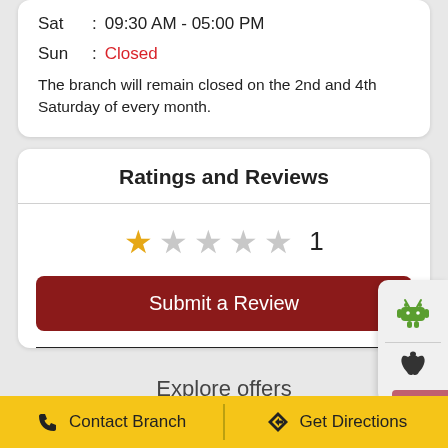Sat  :  09:30 AM - 05:00 PM
Sun  :  Closed
The branch will remain closed on the 2nd and 4th Saturday of every month.
Ratings and Reviews
[Figure (other): Star rating display showing 1 star filled (gold) and 4 stars empty (grey), with count of 1]
Submit a Review
Explore offers
Contact Branch
Get Directions